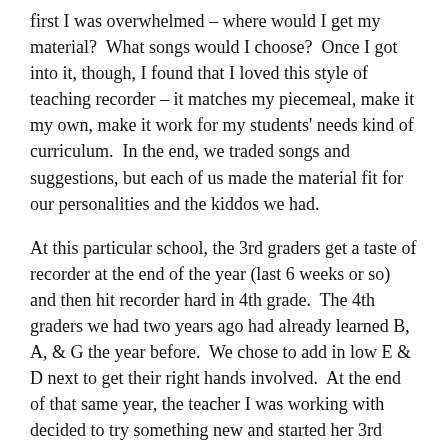first I was overwhelmed – where would I get my material?  What songs would I choose?  Once I got into it, though, I found that I loved this style of teaching recorder – it matches my piecemeal, make it my own, make it work for my students' needs kind of curriculum.  In the end, we traded songs and suggestions, but each of us made the material fit for our personalities and the kiddos we had.
At this particular school, the 3rd graders get a taste of recorder at the end of the year (last 6 weeks or so) and then hit recorder hard in 4th grade.  The 4th graders we had two years ago had already learned B, A, & G the year before.  We chose to add in low E & D next to get their right hands involved.  At the end of that same year, the teacher I was working with decided to try something new and started her 3rd graders on low E.  It was a really successful venture, so I was excited to have the same